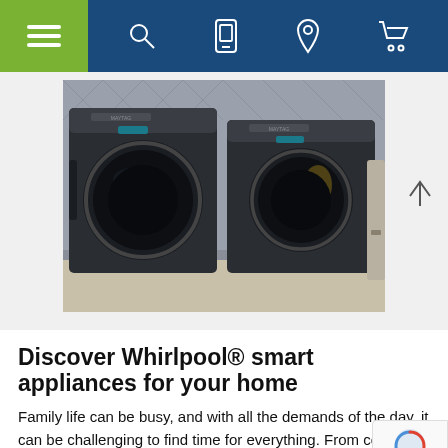Navigation bar with hamburger menu, search, mobile, location, and cart icons
[Figure (photo): Two dark graphite/charcoal Whirlpool front-loading washer and dryer appliances side by side in a modern laundry room with decorative wallpaper background]
Discover Whirlpool® smart appliances for your home
Family life can be busy, and with all the demands of the day, it can be challenging to find time for everything. From cooking cleaning to laundry, our to-do lists are